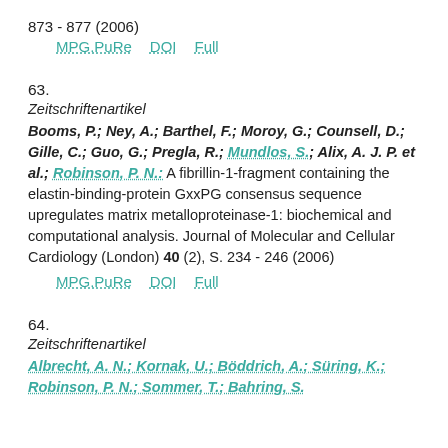873 - 877 (2006)
MPG.PuRe   DOI   Full
63.
Zeitschriftenartikel
Booms, P.; Ney, A.; Barthel, F.; Moroy, G.; Counsell, D.; Gille, C.; Guo, G.; Pregla, R.; Mundlos, S.; Alix, A. J. P. et al.; Robinson, P. N.: A fibrillin-1-fragment containing the elastin-binding-protein GxxPG consensus sequence upregulates matrix metalloproteinase-1: biochemical and computational analysis. Journal of Molecular and Cellular Cardiology (London) 40 (2), S. 234 - 246 (2006)
MPG.PuRe   DOI   Full
64.
Zeitschriftenartikel
Albrecht, A. N.; Kornak, U.; Böddrich, A.; Süring, K.; Robinson, P. N.; Sommer, T.; Bahring, S.